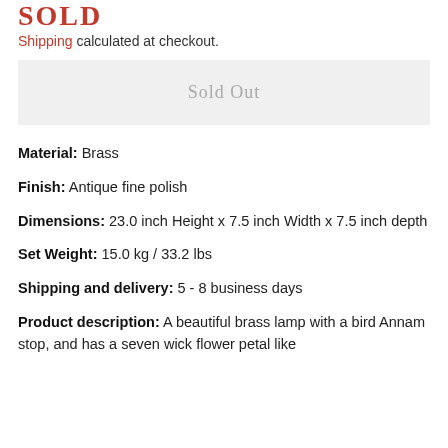SOLD
Shipping calculated at checkout.
Sold Out
Material: Brass
Finish: Antique fine polish
Dimensions: 23.0 inch Height x 7.5 inch Width x 7.5 inch depth
Set Weight: 15.0 kg / 33.2 lbs
Shipping and delivery: 5 - 8 business days
Product description: A beautiful brass lamp with a bird Annam stop, and has a seven wick flower petal like